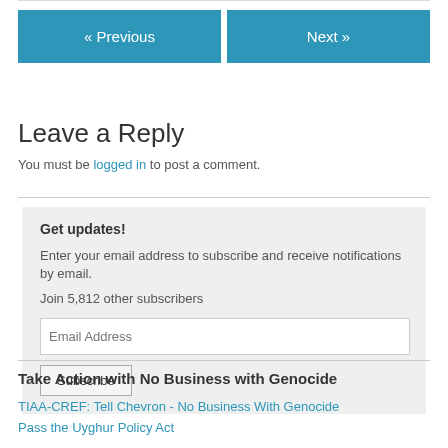« Previous
Next »
Leave a Reply
You must be logged in to post a comment.
Get updates!
Enter your email address to subscribe and receive notifications by email.
Join 5,812 other subscribers
Email Address
Subscribe
Take Action with No Business with Genocide
TIAA-CREF: Tell Chevron - No Business With Genocide
Pass the Uyghur Policy Act